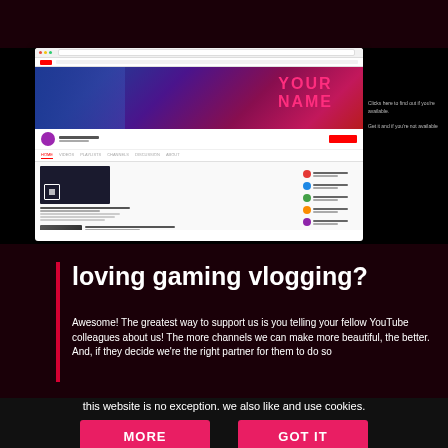[Figure (screenshot): YouTube channel page screenshot showing a banner with 'YOUR NAME' text in pink on a dark blue/magenta gradient background, with channel content below including video thumbnails and sidebar]
Clicks here to find out if you're available. Get it and if you're not available
loving gaming vlogging?
Awesome! The greatest way to support us is you telling your fellow YouTube colleagues about us! The more channels we can make more beautiful, the better. And, if they decide we're the right partner for them to do so
this website is no exception. we also like and use cookies.
MORE
GOT IT